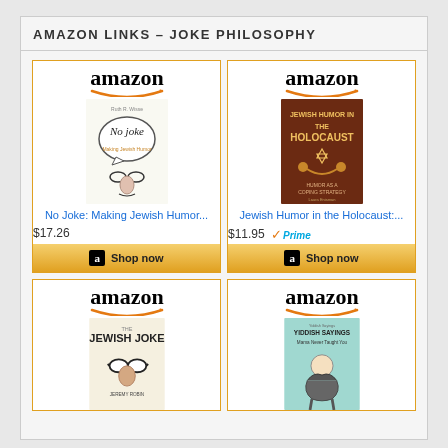AMAZON LINKS – JOKE PHILOSOPHY
[Figure (other): Amazon product card: No Joke: Making Jewish Humor... $17.26, Shop now button]
[Figure (other): Amazon product card: Jewish Humor in the Holocaust:... $11.95 Prime, Shop now button]
[Figure (other): Amazon product card: The Jewish Joke book cover, partially visible]
[Figure (other): Amazon product card: Yiddish Sayings Mama Never Taught You book cover, partially visible]